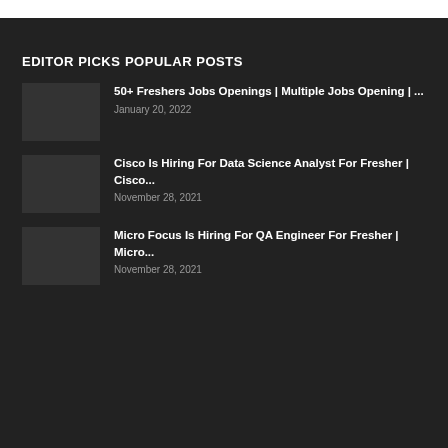EDITOR PICKS
POPULAR POSTS
50+ Freshers Jobs Openings | Multiple Jobs Opening | ...
January 20, 2022
Cisco Is Hiring For Data Science Analyst For Fresher | Cisco...
November 28, 2021
Micro Focus Is Hiring For QA Engineer For Fresher | Micro...
November 28, 2021